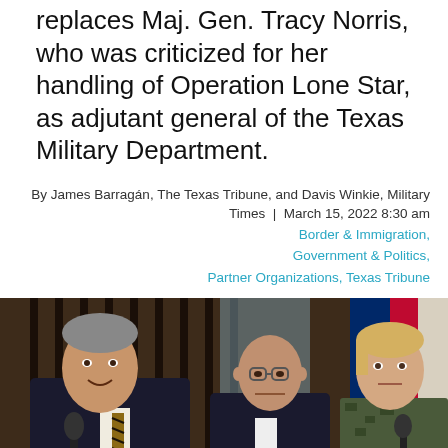replaces Maj. Gen. Tracy Norris, who was criticized for her handling of Operation Lone Star, as adjutant general of the Texas Military Department.
By James Barragán, The Texas Tribune, and Davis Winkie, Military Times  |  March 15, 2022 8:30 am
Border & Immigration, Government & Politics, Partner Organizations, Texas Tribune
[Figure (photo): Three people seated at a table with microphones. On the left is a man in a dark suit with a striped tie speaking at a microphone. In the center is a bald man with glasses in a dark suit. On the right is a woman in military camouflage uniform. Behind them are wooden panels, draped fabric, and a Texas flag.]